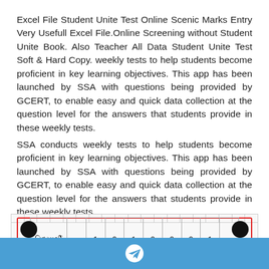Excel File Student Unite Test Online Scenic Marks Entry Very Usefull Excel File.Online Screening without Student Unite Book. Also Teacher All Data Student Unite Test Soft & Hard Copy. weekly tests to help students become proficient in key learning objectives. This app has been launched by SSA with questions being provided by GCERT, to enable easy and quick data collection at the question level for the answers that students provide in these weekly tests.
SSA conducts weekly tests to help students become proficient in key learning objectives. This app has been launched by SSA with questions being provided by GCERT, to enable easy and quick data collection at the question level for the answers that students provide in these weekly tests.
|  | વિદ્યાર્થી |  | 1 | 9 | 1 | 0 | 0 | 0 | 1 |  |
[Telegram icon]